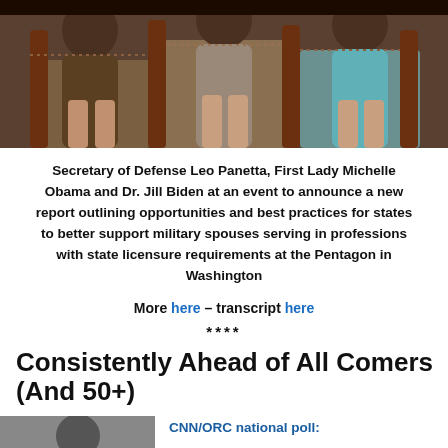[Figure (photo): Photo of Secretary of Defense Leo Panetta, First Lady Michelle Obama and Dr. Jill Biden seated at event, partial view showing legs and chairs]
Secretary of Defense Leo Panetta, First Lady Michelle Obama and Dr. Jill Biden at an event to announce a new report outlining opportunities and best practices for states to better support military spouses serving in professions with state licensure requirements at the Pentagon in Washington
More here – transcript here
****
Consistently Ahead of All Comers (And 50+)
[Figure (photo): Partial photo at bottom left corner]
CNN/ORC national poll: